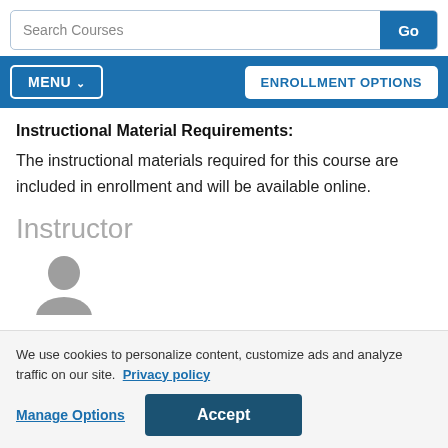Search Courses | Go
MENU | ENROLLMENT OPTIONS
Instructional Material Requirements:
The instructional materials required for this course are included in enrollment and will be available online.
Instructor
[Figure (illustration): Gray silhouette avatar placeholder for instructor profile photo]
We use cookies to personalize content, customize ads and analyze traffic on our site. Privacy policy
Manage Options | Accept